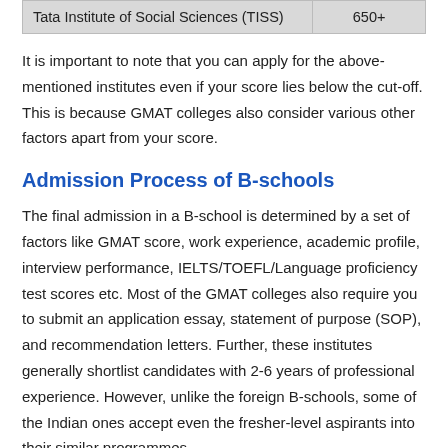|  |  |
| --- | --- |
| Tata Institute of Social Sciences (TISS) | 650+ |
It is important to note that you can apply for the above-mentioned institutes even if your score lies below the cut-off. This is because GMAT colleges also consider various other factors apart from your score.
Admission Process of B-schools
The final admission in a B-school is determined by a set of factors like GMAT score, work experience, academic profile, interview performance, IELTS/TOEFL/Language proficiency test scores etc. Most of the GMAT colleges also require you to submit an application essay, statement of purpose (SOP), and recommendation letters. Further, these institutes generally shortlist candidates with 2-6 years of professional experience. However, unlike the foreign B-schools, some of the Indian ones accept even the fresher-level aspirants into their similar programmes.